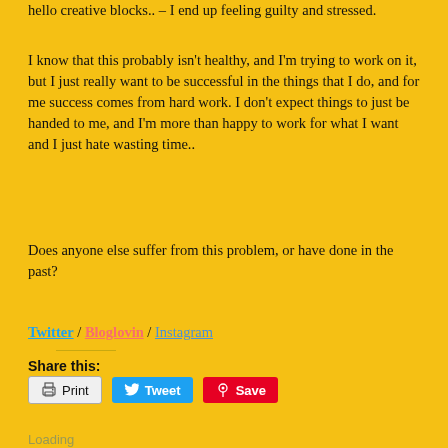hello creative blocks.. – I end up feeling guilty and stressed.
I know that this probably isn't healthy, and I'm trying to work on it, but I just really want to be successful in the things that I do, and for me success comes from hard work. I don't expect things to just be handed to me, and I'm more than happy to work for what I want and I just hate wasting time..
Does anyone else suffer from this problem, or have done in the past?
Twitter / Bloglovin / Instagram
Share this:
Print  Tweet  Save
Loading